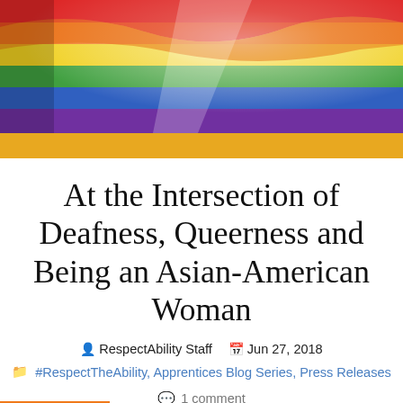[Figure (photo): Rainbow pride flag waving against a bright sky with sunlight shining through it, showing red, orange, yellow, green, blue, and purple stripes.]
At the Intersection of Deafness, Queerness and Being an Asian-American Woman
RespectAbility Staff  Jun 27, 2018
#RespectTheAbility, Apprentices Blog Series, Press Releases
1 comment